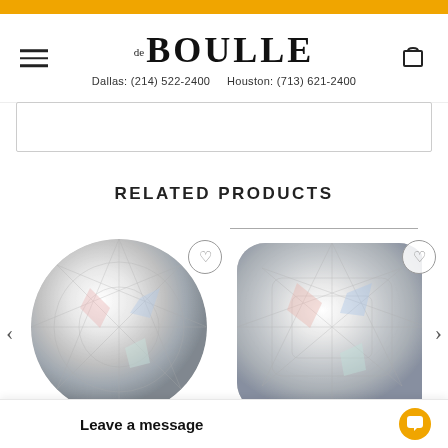de BOULLE | Dallas: (214) 522-2400  Houston: (713) 621-2400
RELATED PRODUCTS
[Figure (photo): Round brilliant cut diamond viewed from above, showing facets and brilliance]
[Figure (photo): Cushion cut diamond viewed from above, showing facets and brilliance]
Leave a message